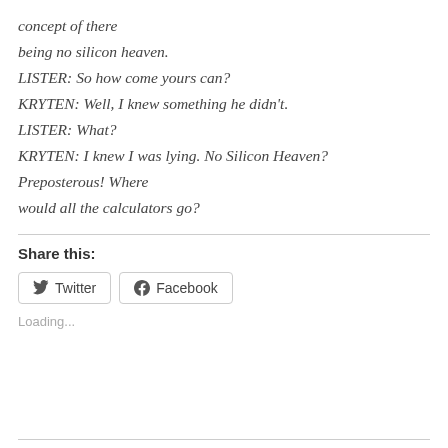concept of there being no silicon heaven. LISTER: So how come yours can? KRYTEN: Well, I knew something he didn't. LISTER: What? KRYTEN: I knew I was lying. No Silicon Heaven? Preposterous! Where would all the calculators go?
Share this:
[Figure (other): Twitter and Facebook share buttons]
Loading...